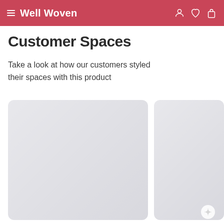Well Woven
Customer Spaces
Take a look at how our customers styled their spaces with this product
[Figure (photo): Customer room photo placeholder card (left, larger)]
[Figure (photo): Customer room photo placeholder card (right, smaller, partially visible)]